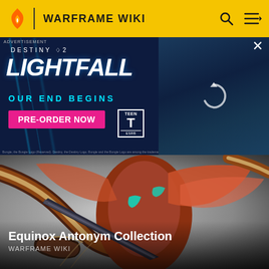WARFRAME WIKI
[Figure (screenshot): Destiny 2 Lightfall advertisement banner with dark blue background, showing LIGHTFALL logo, OUR END BEGINS subtitle in cyan, PRE-ORDER NOW button in pink/magenta, TEEN ESRB rating, and a character image on the right with a refresh/loading icon]
[Figure (photo): Warframe character (Equinox) in ornate armor with blades and wing-like appendages, posed dynamically against a grey gradient background]
Equinox Antonym Collection
WARFRAME WIKI